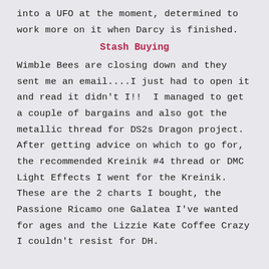into a UFO at the moment, determined to work more on it when Darcy is finished.
Stash Buying
Wimble Bees are closing down and they sent me an email....I just had to open it and read it didn't I!!  I managed to get a couple of bargains and also got the metallic thread for DS2s Dragon project. After getting advice on which to go for, the recommended Kreinik #4 thread or DMC Light Effects I went for the Kreinik.  These are the 2 charts I bought, the  Passione Ricamo one Galatea I've wanted for ages and the Lizzie Kate Coffee Crazy I couldn't resist for DH.